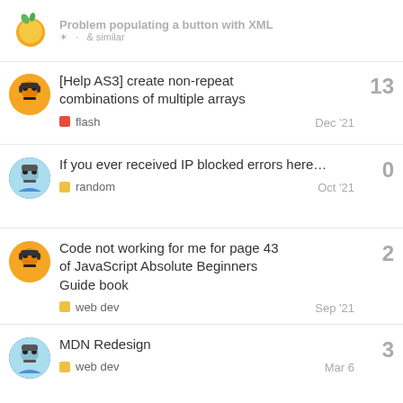Problem populating a button with XML
[Help AS3] create non-repeat combinations of multiple arrays
If you ever received IP blocked errors here…
Code not working for me for page 43 of JavaScript Absolute Beginners Guide book
MDN Redesign
Creating Many Draggable Elements in JavaScript